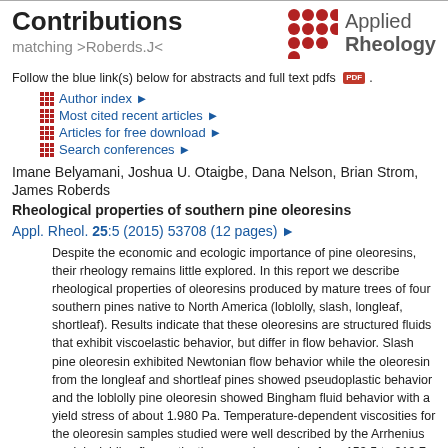Contributions matching >Roberds.J<
[Figure (logo): Applied Rheology logo with red dot grid and text]
Follow the blue link(s) below for abstracts and full text pdfs [PDF icon].
Author index ▶
Most cited recent articles ▶
Articles for free download ▶
Search conferences ▶
Imane Belyamani, Joshua U. Otaigbe, Dana Nelson, Brian Strom, James Roberds
Rheological properties of southern pine oleoresins
Appl. Rheol. 25:5 (2015) 53708 (12 pages) ▶
Despite the economic and ecologic importance of pine oleoresins, their rheology remains little explored. In this report we describe rheological properties of oleoresins produced by mature trees of four southern pines native to North America (loblolly, slash, longleaf, shortleaf). Results indicate that these oleoresins are structured fluids that exhibit viscoelastic behavior, but differ in flow behavior. Slash pine oleoresin exhibited Newtonian flow behavior while the oleoresin from the longleaf and shortleaf pines showed pseudoplastic behavior and the loblolly pine oleoresin showed Bingham fluid behavior with a yield stress of about 1.980 Pa. Temperature-dependent viscosities for the oleoresin samples studied were well described by the Arrhenius model, yielding flow activation energies ranging from 153.5 to 219.7 kJ/mol. The viscosity of the slash pine oleoresin sample was found to be less sensitive to temperature